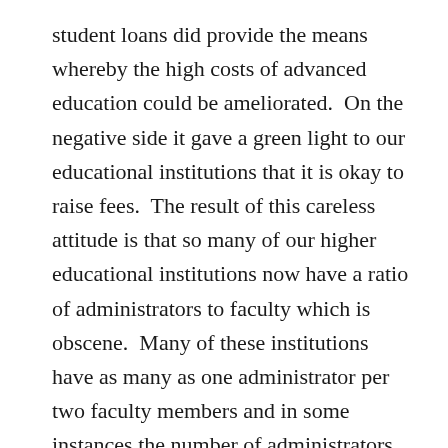student loans did provide the means whereby the high costs of advanced education could be ameliorated.  On the negative side it gave a green light to our educational institutions that it is okay to raise fees.  The result of this careless attitude is that so many of our higher educational institutions now have a ratio of administrators to faculty which is obscene.  Many of these institutions have as many as one administrator per two faculty members and in some instances the number of administrators is equal to or greater than the number of faculty.  And you wonder why the cost of education is as high as it is.
GLOBAL WARMING